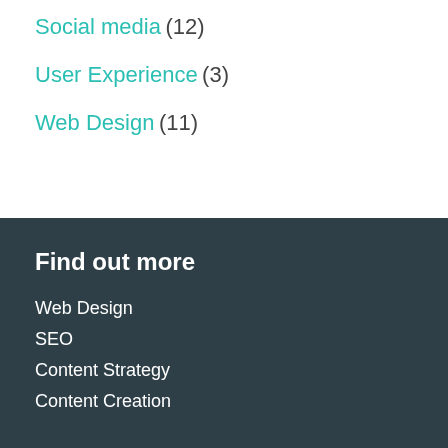Social media (12)
User Experience (3)
Web Design (11)
Find out more
Web Design
SEO
Content Strategy
Content Creation